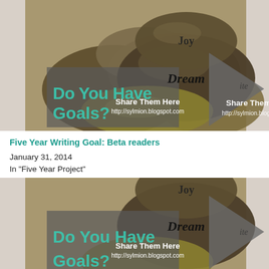[Figure (photo): Blog post thumbnail image showing dark smooth stones with words 'Joy', 'Dream', 'Goals' inscribed or overlaid, with teal text 'Do You Have Goals?' and text 'Share Them Here http://sylmion.blogspot.com' on a grey arrow graphic overlay]
Five Year Writing Goal: Beta readers
January 31, 2014
In "Five Year Project"
[Figure (photo): Second instance of the same blog post thumbnail image showing dark smooth stones with words 'Joy', 'Dream', 'Goals' inscribed or overlaid, with teal text 'Do You Have Goals?' and text 'Share Them Here http://sylmion.blogspot.com' on a grey arrow graphic overlay (partially cropped)]